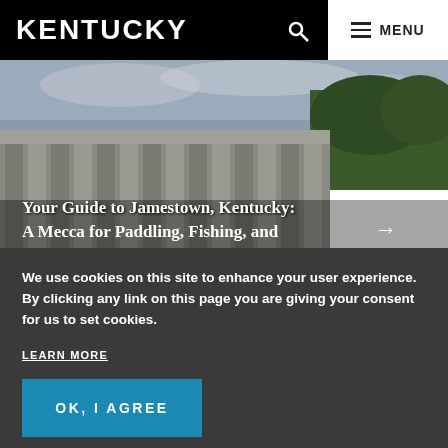KENTUCKY
[Figure (photo): Aerial/ground-level photograph of a large concrete dam with wooded hillside in the background and overcast sky. Text overlay reads: Your Guide to Jamestown, Kentucky: A Mecca for Paddling, Fishing, and →]
Your Guide to Jamestown, Kentucky: A Mecca for Paddling, Fishing, and
We use cookies on this site to enhance your user experience. By clicking any link on this page you are giving your consent for us to set cookies.
LEARN MORE
OK, I AGREE